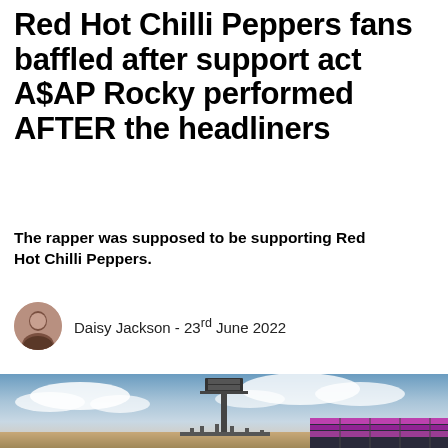Red Hot Chilli Peppers fans baffled after support act A$AP Rocky performed AFTER the headliners
The rapper was supposed to be supporting Red Hot Chilli Peppers.
Daisy Jackson - 23rd June 2022
[Figure (photo): Outdoor stadium or venue at dusk/sunset with a tall floodlight tower in the center, clouds in the sky, and a building with purple/pink LED lighting on the right side.]